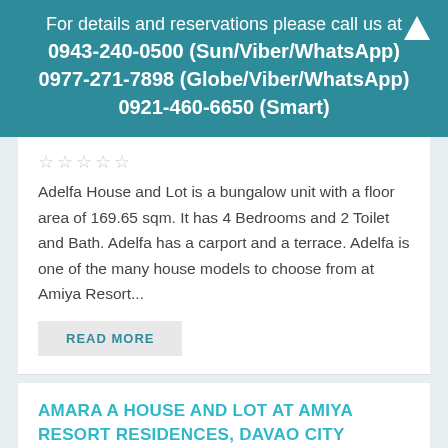For details and reservations please call us at
0943-240-0500 (Sun/Viber/WhatsApp)
0977-271-7898 (Globe/Viber/WhatsApp)
0921-460-6650 (Smart)
★★★★★
Adelfa House and Lot is a bungalow unit with a floor area of 169.65 sqm. It has 4 Bedrooms and 2 Toilet and Bath. Adelfa has a carport and a terrace. Adelfa is one of the many house models to choose from at Amiya Resort...
READ MORE
AMARA A HOUSE AND LOT AT AMIYA RESORT RESIDENCES, DAVAO CITY